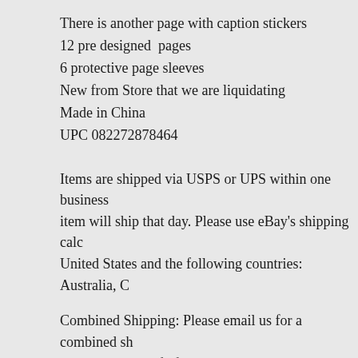There is another page with caption stickers
12 pre designed  pages
6 protective page sleeves
New from Store that we are liquidating
Made in China
UPC 082272878464
Items are shipped via USPS or UPS within one business item will ship that day. Please use eBay's shipping calc United States and the following countries: Australia, C
Combined Shipping: Please email us for a combined sh purchase to qualify for a shipping discount. Please do n
Payment is due within 10 days of We are a liquidator auction end. To keep our costs l
We accept Paypal, Mastercard,  you with a full refu